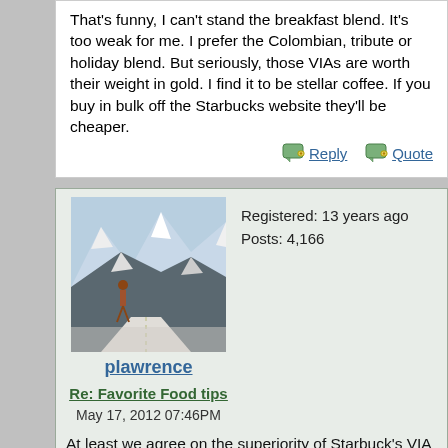That's funny, I can't stand the breakfast blend. It's too weak for me. I prefer the Colombian, tribute or holiday blend. But seriously, those VIAs are worth their weight in gold. I find it to be stellar coffee. If you buy in bulk off the Starbucks website they'll be cheaper.
Reply   Quote
[Figure (photo): Avatar image of a person standing on a snowy mountain road with rocky peaks in the background]
plawrence
Registered: 13 years ago
Posts: 4,166
Re: Favorite Food tips
May 17, 2012 07:46PM
At least we agree on the superiority of Starbuck's VIA Tribute and Christmas Blends. ☺